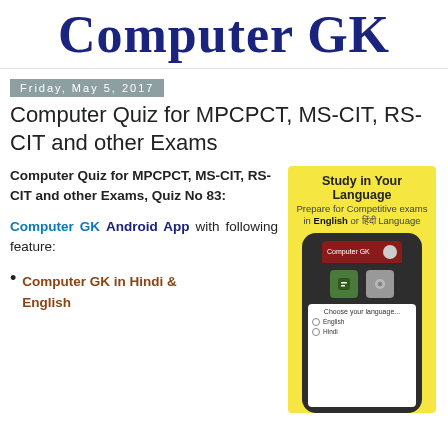Computer GK
Friday, May 5, 2017
Computer Quiz for MPCPCT, MS-CIT, RS-CIT and other Exams
Computer Quiz for MPCPCT, MS-CIT, RS-CIT and other Exams, Quiz No 83:
Computer GK Android App with following feature:
[Figure (screenshot): Android phone showing Computer GK app with Study in Your Language banner, language selection screen]
Computer GK in Hindi & English